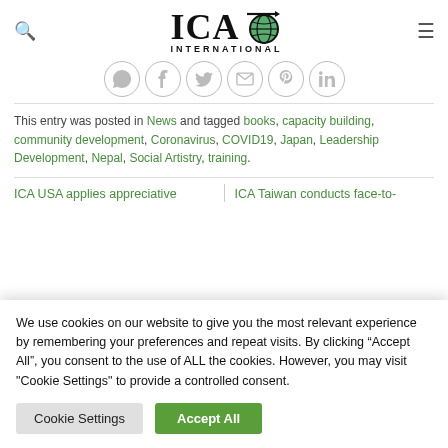ICAO International — website header with search icon, logo, and hamburger menu
[Figure (other): Row of social share icons: WhatsApp, Facebook, Twitter, Email, Pinterest, LinkedIn — circular grey outlined buttons]
This entry was posted in News and tagged books, capacity building, community development, Coronavirus, COVID19, Japan, Leadership Development, Nepal, Social Artistry, training.
ICA USA applies appreciative | ICA Taiwan conducts face-to-
We use cookies on our website to give you the most relevant experience by remembering your preferences and repeat visits. By clicking "Accept All", you consent to the use of ALL the cookies. However, you may visit "Cookie Settings" to provide a controlled consent.